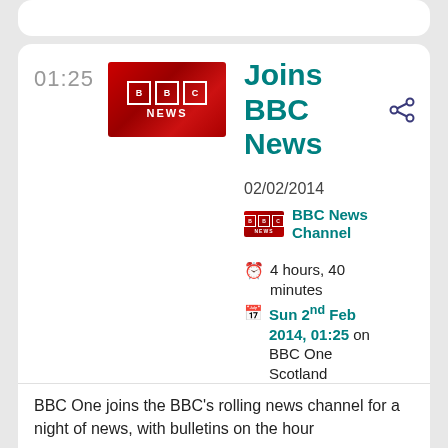01:25
[Figure (logo): BBC News logo - red background with BBC boxes and NEWS text]
Joins BBC News
02/02/2014
[Figure (logo): BBC News small logo]
BBC News Channel
4 hours, 40 minutes
Sun 2nd Feb 2014, 01:25 on BBC One Scotland
BBC One joins the BBC's rolling news channel for a night of news, with bulletins on the hour